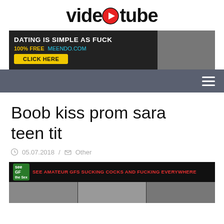videotube
[Figure (screenshot): Dating ad banner: DATING IS SIMPLE AS FUCK, 100% FREE MEENDO.COM, CLICK HERE button]
[Figure (screenshot): Navigation bar with hamburger menu icon]
Boob kiss prom sara teen tit
05.07.2018 / Other
[Figure (photo): Adult content advertisement banner at bottom]